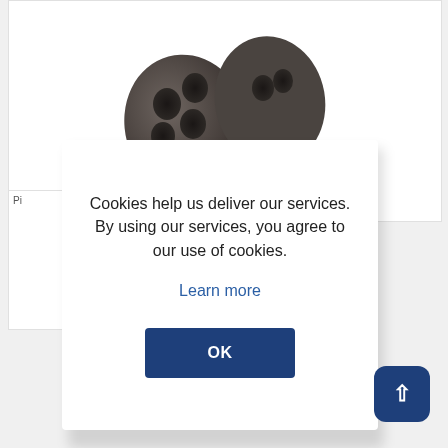[Figure (photo): Dark gray/brown cylindrical mechanical component with holes, shown from angled top view against white background]
[Figure (photo): Broken image placeholder labeled Pi in bottom left area of page]
Cookies help us deliver our services. By using our services, you agree to our use of cookies.
Learn more
OK